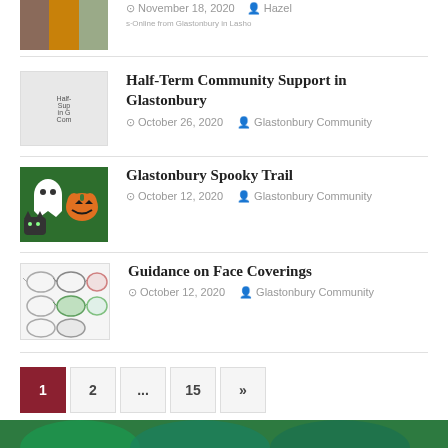[Figure (photo): Partial thumbnail of a previous article, showing multiple small images including a face and a sunset]
November 18, 2020  Hazel
[Figure (photo): Thumbnail for Half-Term Community Support in Glastonbury article, showing a handwritten note]
Half-Term Community Support in Glastonbury
October 26, 2020  Glastonbury Community
[Figure (photo): Thumbnail for Glastonbury Spooky Trail showing Halloween decorations including a ghost and pumpkin on green background]
Glastonbury Spooky Trail
October 12, 2020  Glastonbury Community
[Figure (photo): Thumbnail for Guidance on Face Coverings showing various face masks of different colors]
Guidance on Face Coverings
October 12, 2020  Glastonbury Community
1
2
...
15
»